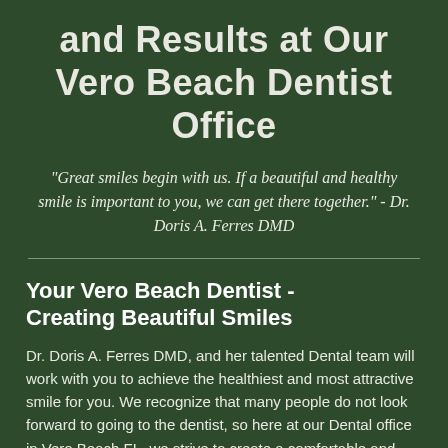and Results at Our Vero Beach Dentist Office
"Great smiles begin with us. If a beautiful and healthy smile is important to you, we can get there together." - Dr. Doris A. Ferres DMD
Your Vero Beach Dentist - Creating Beautiful Smiles
Dr. Doris A. Ferres DMD, and her talented Dental team will work with you to achieve the healthiest and most attractive smile for you. We recognize that many people do not look forward to going to the dentist, so here at our Dental office in Vero Beach FL, we strive to create a comfortable and relaxing atmosphere.
We offer a wide variety of dental services, from keeping your mouth healthy with regular